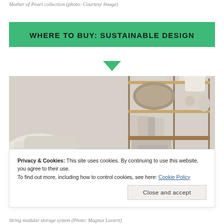Mother of Pearl collection (photo: Courtesy Image)
WHERE TO BUY: SUSTAINABLE DESIGN
[Figure (photo): Interior photo showing a bedroom scene with white pillows on left and a metal shelving unit on the right holding books, decorative objects, and fabric items, against a neutral beige wall background.]
Privacy & Cookies: This site uses cookies. By continuing to use this website, you agree to their use.
To find out more, including how to control cookies, see here: Cookie Policy
String modular storage system (Photo: Magnus Lavartt)